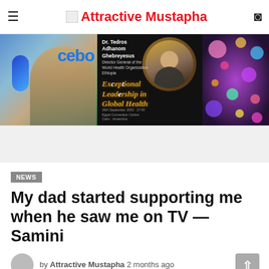Attractive Mustapha
[Figure (photo): Three-panel image strip: left panel shows a woman with a blue microphone near a Facebook backdrop; center panel shows a WHO award graphic for Dr. Tedros Adhanom Ghebreyesus for Exceptional Leadership in Global Health; right panel shows colorful bokeh lights.]
NEWS
My dad started supporting me when he saw me on TV — Samini
by Attractive Mustapha  2 months ago